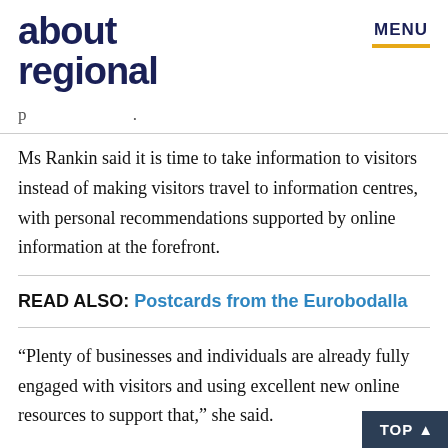about regional  MENU
Ms Rankin said it is time to take information to visitors instead of making visitors travel to information centres, with personal recommendations supported by online information at the forefront.
READ ALSO: Postcards from the Eurobodalla
“Plenty of businesses and individuals are already fully engaged with visitors and using excellent new online resources to support that,” she said.